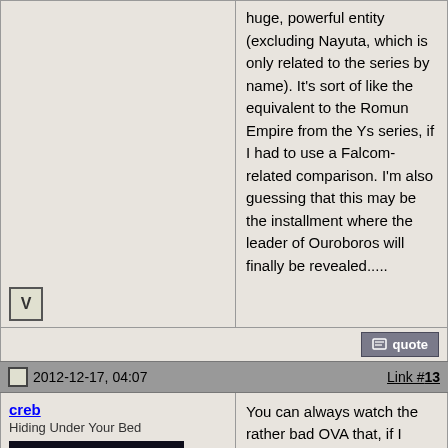huge, powerful entity (excluding Nayuta, which is only related to the series by name). It's sort of like the equivalent to the Romun Empire from the Ys series, if I had to use a Falcom-related comparison. I'm also guessing that this may be the installment where the leader of Ouroboros will finally be revealed.....
2012-12-17, 04:07
Link #13
creb
Hiding Under Your Bed
[Figure (photo): Avatar image of a character with light-colored hair holding something, dark and warm-toned background]
Join Date: May 2008
You can always watch the rather bad OVA that, if I understand correctly, covers the first bits of game 2. It doesn't do much to continue the story that left us non-Japanese speakers hanging at the end of game 1, but any crumbs are better than none...right?

I, for one, have zero faith that Xseed will actually release either game 2 or 3.
http://myanimelist.net/animelist/creb
http://myanimelist.net/mangalist/creb
It feels like years since they've been updated, btw.
Also, only